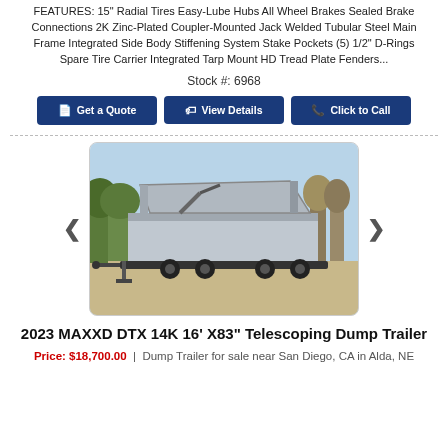FEATURES: 15" Radial Tires Easy-Lube Hubs All Wheel Brakes Sealed Brake Connections 2K Zinc-Plated Coupler-Mounted Jack Welded Tubular Steel Main Frame Integrated Side Body Stiffening System Stake Pockets (5) 1/2" D-Rings Spare Tire Carrier Integrated Tarp Mount HD Tread Plate Fenders...
Stock #: 6968
Get a Quote | View Details | Click to Call
[Figure (photo): Photo of a 2023 MAXXD DTX 14K 16' X83 Telescoping Dump Trailer with the dump bed raised, parked outdoors on a paved area with trees in the background.]
2023 MAXXD DTX 14K 16' X83" Telescoping Dump Trailer
Price: $18,700.00 | Dump Trailer for sale near San Diego, CA in Alda, NE